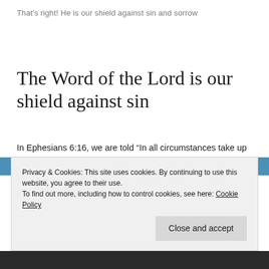That's right! He is our shield against sin and sorrow
The Word of the Lord is our shield against sin
In Ephesians 6:16, we are told “In all circumstances take up the shield of faith, with which you can extinguish all the flaming darts of the evil one.” We are protected by the shield of faith. Paul wrote in Romans 8:30, “If God be for us, who
Privacy & Cookies: This site uses cookies. By continuing to use this website, you agree to their use.
To find out more, including how to control cookies, see here: Cookie Policy
Close and accept